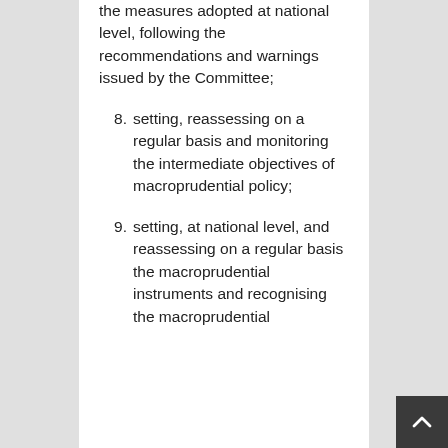the measures adopted at national level, following the recommendations and warnings issued by the Committee;
8. setting, reassessing on a regular basis and monitoring the intermediate objectives of macroprudential policy;
9. setting, at national level, and reassessing on a regular basis the macroprudential instruments and recognising the macroprudential